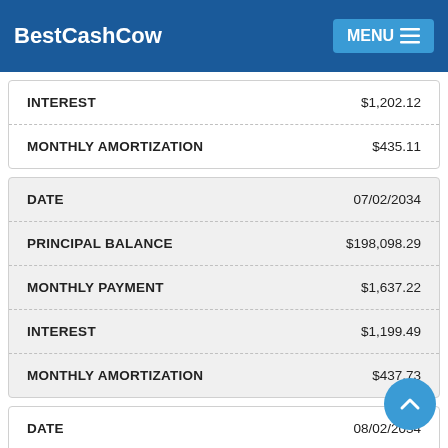BestCashCow | MENU
|  |  |
| --- | --- |
| INTEREST | $1,202.12 |
| MONTHLY AMORTIZATION | $435.11 |
|  |  |
| --- | --- |
| DATE | 07/02/2034 |
| PRINCIPAL BALANCE | $198,098.29 |
| MONTHLY PAYMENT | $1,637.22 |
| INTEREST | $1,199.49 |
| MONTHLY AMORTIZATION | $437.73 |
|  |  |
| --- | --- |
| DATE | 08/02/2034 |
| PRINCIPAL BALANCE | $197,657.91 |